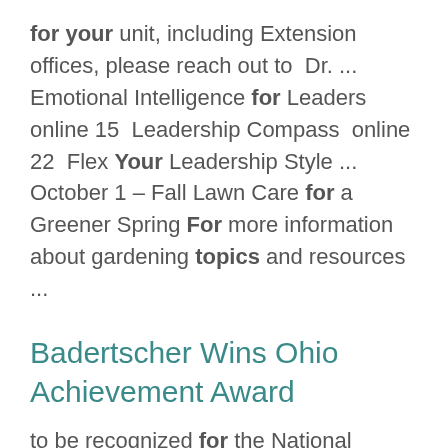for your unit, including Extension offices, please reach out to  Dr. ... Emotional Intelligence for Leaders  online 15  Leadership Compass  online 22  Flex Your Leadership Style ... October 1 – Fall Lawn Care for a Greener Spring For more information about gardening topics and resources ...
Badertscher Wins Ohio Achievement Award
to be recognized for the National Association of County Agricultural Agents (NACAA) Achievement ... Extension